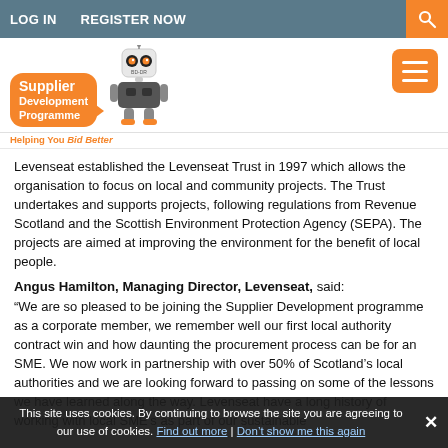LOG IN   REGISTER NOW
[Figure (logo): Supplier Development Programme logo with orange speech bubble, robot mascot (BD-DR), and tagline 'Helping You Bid Better']
Levenseat established the Levenseat Trust in 1997 which allows the organisation to focus on local and community projects. The Trust undertakes and supports projects, following regulations from Revenue Scotland and the Scottish Environment Protection Agency (SEPA). The projects are aimed at improving the environment for the benefit of local people.
Angus Hamilton, Managing Director, Levenseat, said:
“We are so pleased to be joining the Supplier Development programme as a corporate member, we remember well our first local authority contract win and how daunting the procurement process can be for an SME. We now work in partnership with over 50% of Scotland’s local authorities and we are looking forward to passing on some of the lessons we have learned along the way. Levenseat have a long history of working with local SME’s as part of our sustainable
This site uses cookies. By continuing to browse the site you are agreeing to our use of cookies. Find out more | Don't show me this again  X